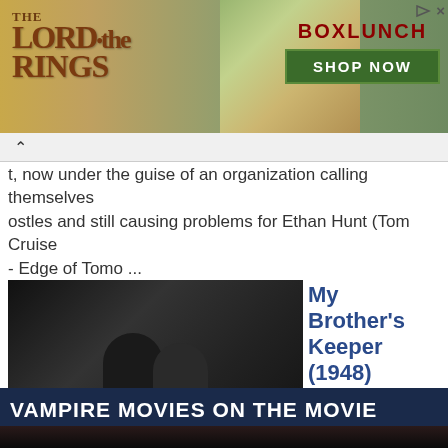[Figure (illustration): Lord of the Rings + BoxLunch advertisement banner with logo on left, food/merchandise in center, and Shop Now button on right]
t, now under the guise of an organization calling themselves ostles and still causing problems for Ethan Hunt (Tom Cruise - Edge of Tomo ...
My Brother's Keeper (1948)
[Figure (photo): Black and white movie still from My Brother's Keeper (1948) showing two men]
George Martin (Jack Warner - Against the Wind) had been a war hero but on returning to civvy street turned to a life of crime, which is how he ends up on his way to prison, handcuffed to naive youth Willie Stannard (George Cole - Th ...
World War Z (2013)
[Figure (photo): Movie still from World War Z (2013) showing Brad Pitt on an airplane]
Gerry Lewis (Brad Pitt - Moneyball) use to work for the United Nations, travelling the globe as a special investigator, but decided to call it a day in order to spend more time with his wife and two daughters. But when a pandemic ca ...
VAMPIRE MOVIES ON THE MOVIE SCENE